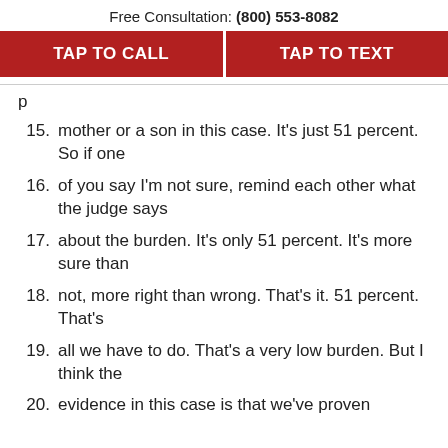Free Consultation: (800) 553-8082
[Figure (other): Two red call-to-action buttons: TAP TO CALL and TAP TO TEXT]
15. mother or a son in this case. It's just 51 percent. So if one
16. of you say I'm not sure, remind each other what the judge says
17. about the burden. It's only 51 percent. It's more sure than
18. not, more right than wrong. That's it. 51 percent. That's
19. all we have to do. That's a very low burden. But I think the
20. evidence in this case is that we've proven